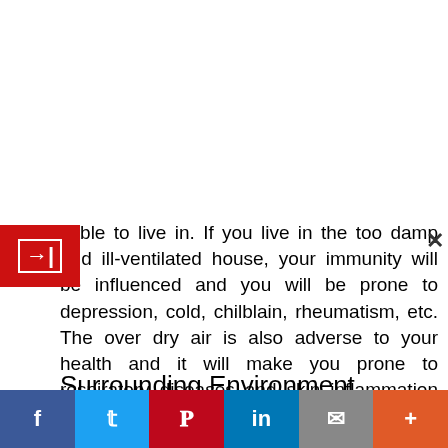itable to live in. If you live in the too damp and ill-ventilated house, your immunity will be influenced and you will be prone to depression, cold, chilblain, rheumatism, etc. The over dry air is also adverse to your health and it will make you prone to respiratory diseases and skin inflammation and accelerate the spread of bacteria.
Surrounding Environment
Undoubtedly, the picturesque places are auspicious for you to live from the perspective of